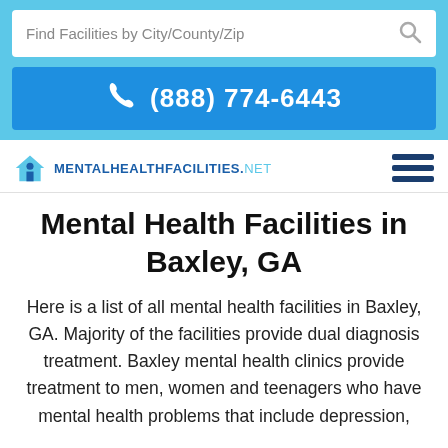Find Facilities by City/County/Zip
(888) 774-6443
[Figure (logo): MentalHealthFacilities.net logo with house/person icon and hamburger menu icon]
Mental Health Facilities in Baxley, GA
Here is a list of all mental health facilities in Baxley, GA. Majority of the facilities provide dual diagnosis treatment. Baxley mental health clinics provide treatment to men, women and teenagers who have mental health problems that include depression,